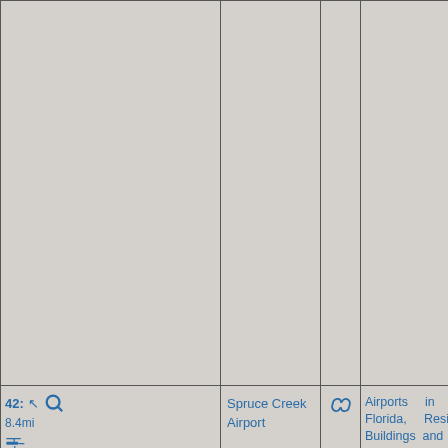| Controls | Name | Link | Categories | Image |
| --- | --- | --- | --- | --- |
|  |  |  |  |  |
| 42: 8.4mi [icons] | Spruce Creek Airport | [link icon] | Airports in Volusia County, Florida, Residential airparks, Buildings and structures in Port Orange, Florida, Closed facilities of the United States Navy, Hidden categories:, Coordinates on Wikidata, Official website different in Wikidata and | [aerial photo] |